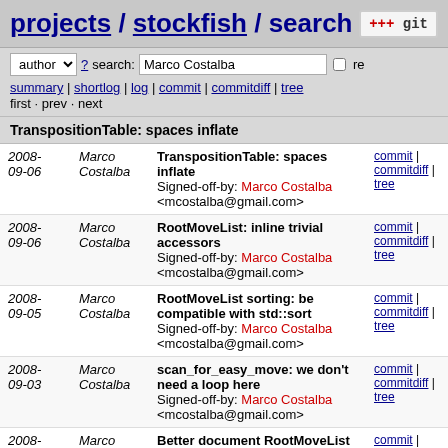projects / stockfish / search
TranspositionTable: spaces inflate
| date | author | commit message | links |
| --- | --- | --- | --- |
| 2008-09-06 | Marco Costalba | TranspositionTable: spaces inflate
Signed-off-by: Marco Costalba <mcostalba@gmail.com> | commit | commitdiff | tree |
| 2008-09-06 | Marco Costalba | RootMoveList: inline trivial accessors
Signed-off-by: Marco Costalba <mcostalba@gmail.com> | commit | commitdiff | tree |
| 2008-09-05 | Marco Costalba | RootMoveList sorting: be compatible with std::sort
Signed-off-by: Marco Costalba <mcostalba@gmail.com> | commit | commitdiff | tree |
| 2008-09-03 | Marco Costalba | scan_for_easy_move: we don't need a loop here
Signed-off-by: Marco Costalba <mcostalba@gmail.com> | commit | commitdiff | tree |
| 2008-09-03 | Marco Costalba | Better document RootMoveList c'tor
Signed-off-by: Marco Costalba ... | commit | commitdiff | tree |